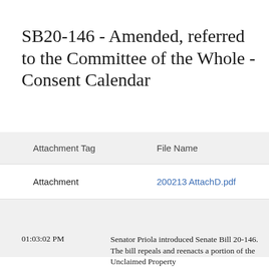SB20-146 - Amended, referred to the Committee of the Whole - Consent Calendar
| Attachment Tag | File Name |
| --- | --- |
| Attachment | 200213 AttachD.pdf |
01:03:02 PM  Senator Priola introduced Senate Bill 20-146.  The bill repeals and reenacts a portion of the Unclaimed Property Act with modifications related to the presumption of abandonment for demand